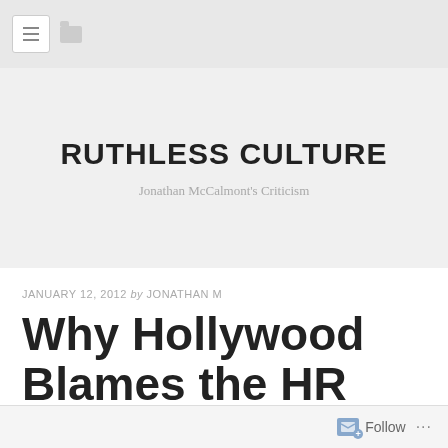RUTHLESS CULTURE — Jonathan McCalmont's Criticism
JANUARY 12, 2012 by JONATHAN M
Why Hollywood Blames the HR Department for 9/11
Follow ...